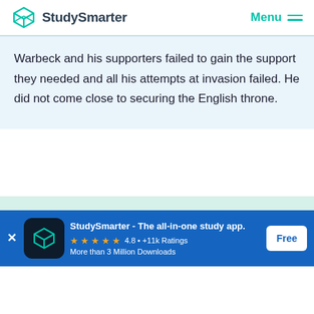StudySmarter | Menu
Warbeck and his supporters failed to gain the support they needed and all his attempts at invasion failed. He did not come close to securing the English throne.
[Figure (screenshot): StudySmarter app install banner with logo, rating 4.8 +11k Ratings, More than 3 Million Downloads, and Free button]